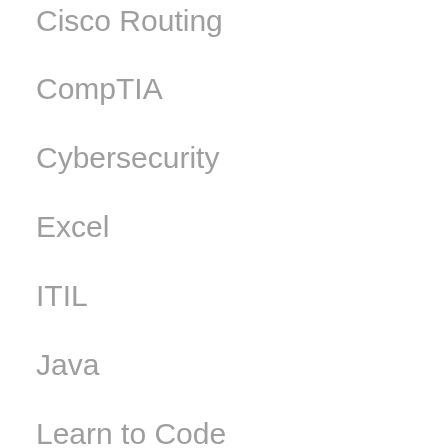Cisco Routing
CompTIA
Cybersecurity
Excel
ITIL
Java
Learn to Code
Microsoft 365
Microsoft Azure
Microsoft Office
Power BI
PowerShell
Project Management